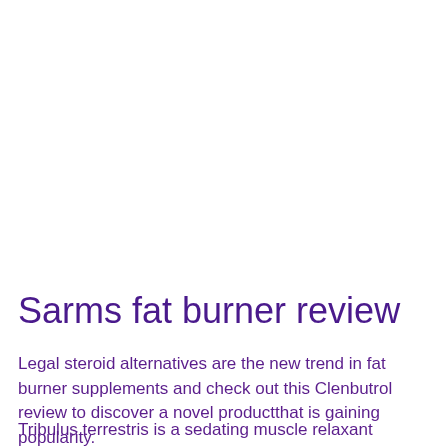Sarms fat burner review
Legal steroid alternatives are the new trend in fat burner supplements and check out this Clenbutrol review to discover a novel productthat is gaining popularity.
Tribulus terrestris is a sedating muscle relaxant derived from a plant in